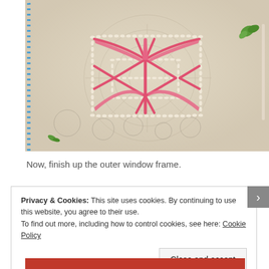[Figure (photo): Close-up photo of embroidery on light fabric showing a star or cross shape inside a rectangular frame stitched in cream/white thread, with pink/red thread accents forming a decorative pattern. A blue running stitch border is visible on the left edge, and green thread is visible in the upper right and lower left corners.]
Now, finish up the outer window frame.
Privacy & Cookies: This site uses cookies. By continuing to use this website, you agree to their use.
To find out more, including how to control cookies, see here: Cookie Policy
Close and accept